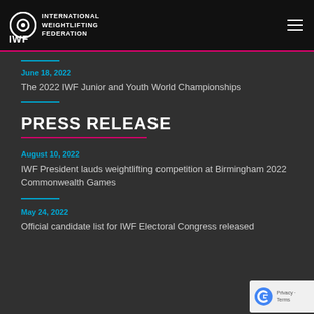INTERNATIONAL WEIGHTLIFTING FEDERATION
June 18, 2022
The 2022 IWF Junior and Youth World Championships
PRESS RELEASE
August 10, 2022
IWF President lauds weightlifting competition at Birmingham 2022 Commonwealth Games
May 24, 2022
Official candidate list for IWF Electoral Congress released